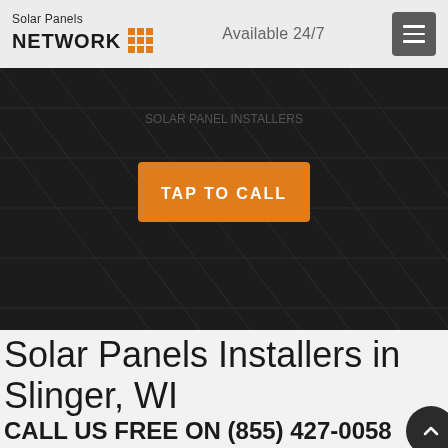Solar Panels NETWORK  Available 24/7
[Figure (screenshot): Dark hero section with solar panel background image and orange TAP TO CALL button]
Solar Panels Installers in Slinger, WI
CALL US FREE ON (855) 427-0058